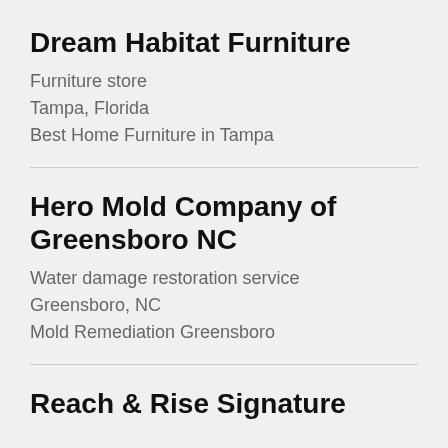Dream Habitat Furniture
Furniture store
Tampa, Florida
Best Home Furniture in Tampa
Hero Mold Company of Greensboro NC
Water damage restoration service
Greensboro, NC
Mold Remediation Greensboro
Reach & Rise Signature